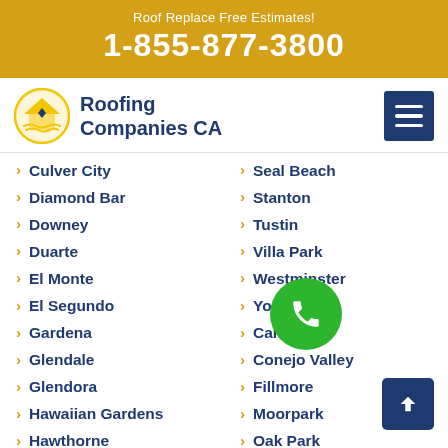Roof Replace Free Estimates!
1-855-877-3800
[Figure (logo): Roofing Companies CA logo with house/roof icon]
Culver City
Diamond Bar
Downey
Duarte
El Monte
El Segundo
Gardena
Glendale
Glendora
Hawaiian Gardens
Hawthorne
Hermosa Beach
Seal Beach
Stanton
Tustin
Villa Park
Westminster
Yorba Linda
Camarillo
Conejo Valley
Fillmore
Moorpark
Oak Park
Ojai